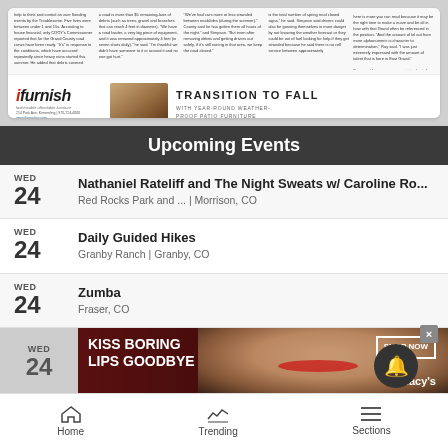[Figure (screenshot): Newspaper article snippet above an iFurnish furniture advertisement with 'Transition to Fall' copy]
Upcoming Events
WED 24 — Nathaniel Rateliff and The Night Sweats w/ Caroline Ro... | Red Rocks Park and ... | Morrison, CO
WED 24 — Daily Guided Hikes | Granby Ranch | Granby, CO
WED 24 — Zumba | Fraser, CO
[Figure (photo): Macy's advertisement banner: 'Kiss Boring Lips Goodbye' with 'Shop Now' button and Macy's star logo]
Home  Trending  Sections